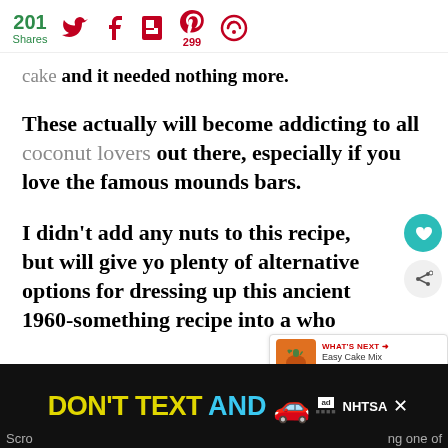201 Shares | Social share icons: Twitter, Facebook, Flipboard, Pinterest (299), Feedly
cake and it needed nothing more.
These actually will become addicting to all coconut lovers out there, especially if you love the famous mounds bars.
I didn't add any nuts to this recipe, but will give you plenty of alternative options for dressing up this ancient 1960-something recipe into a who
[Figure (screenshot): WHAT'S NEXT overlay with pumpkin image and text: Easy Cake Mix Chocolate...]
[Figure (infographic): DON'T TEXT AND drive advertisement banner with car emoji, ad badge, NHTSA branding on dark background]
Scroll ... ng one of